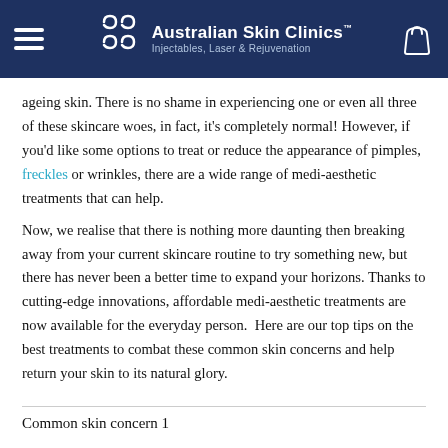Australian Skin Clinics™ — Injectables, Laser & Rejuvenation
ageing skin. There is no shame in experiencing one or even all three of these skincare woes, in fact, it's completely normal! However, if you'd like some options to treat or reduce the appearance of pimples, freckles or wrinkles, there are a wide range of medi-aesthetic treatments that can help.
Now, we realise that there is nothing more daunting then breaking away from your current skincare routine to try something new, but there has never been a better time to expand your horizons. Thanks to cutting-edge innovations, affordable medi-aesthetic treatments are now available for the everyday person.  Here are our top tips on the best treatments to combat these common skin concerns and help return your skin to its natural glory.
Common skin concern 1